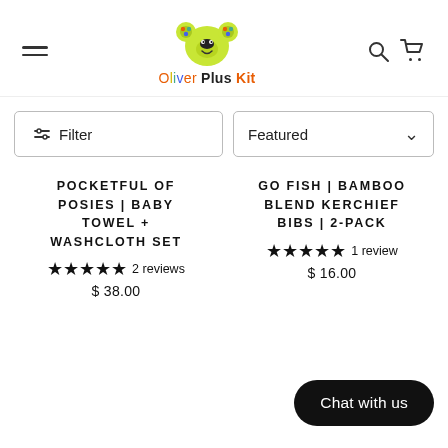Oliver Plus Kit — navigation header with hamburger menu, logo, search, and cart icons
Filter | Featured
POCKETFUL OF POSIES | BABY TOWEL + WASHCLOTH SET ★★★★★ 2 reviews $38.00
GO FISH | BAMBOO BLEND KERCHIEF BIBS | 2-PACK ★★★★★ 1 review $16.00
Chat with us